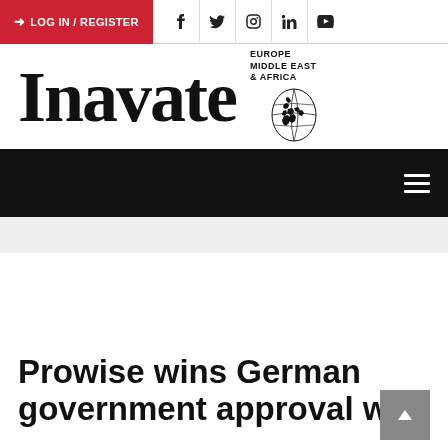LOG IN / REGISTER
[Figure (logo): Inavate Europe Middle East & Africa logo with globe graphic]
Navigation menu (hamburger icon)
Prowise wins German government approval with